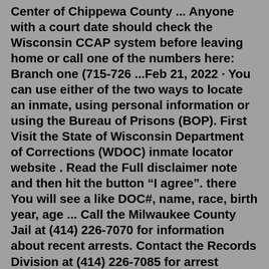Center of Chippewa County ... Anyone with a court date should check the Wisconsin CCAP system before leaving home or call one of the numbers here: Branch one (715-726 ...Feb 21, 2022 · You can use either of the two ways to locate an inmate, using personal information or using the Bureau of Prisons (BOP). First Visit the State of Wisconsin Department of Corrections (WDOC) inmate locator website . Read the Full disclaimer note and then hit the button “I agree”. there You will see a like DOC#, name, race, birth year, age ... Call the Milwaukee County Jail at (414) 226-7070 for information about recent arrests. Contact the Records Division at (414) 226-7085 for arrest records and incident reports. Use the non-emergency dispatch phone number- (414) 278-4766 to get general information. Call the Warrants Unit at (414) 278-4713 for a warrant search.Welcome to CCAP News. A variety of topics that impact Pennsylvania Counties. Eau Claire County Government Center. 721 Oxford Ave, Eau Claire, WI